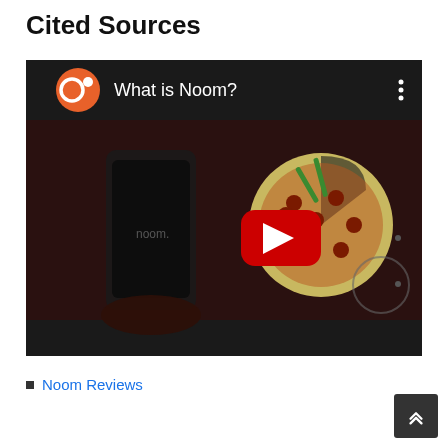Cited Sources
[Figure (screenshot): YouTube video thumbnail for 'What is Noom?' showing a Noom logo icon in orange/red circle, video title text in white, three-dot menu icon, and a dark overlaid thumbnail image showing a hand holding a smartphone with the Noom app, and a cartoon pizza image with a red YouTube play button in the center.]
Noom Reviews